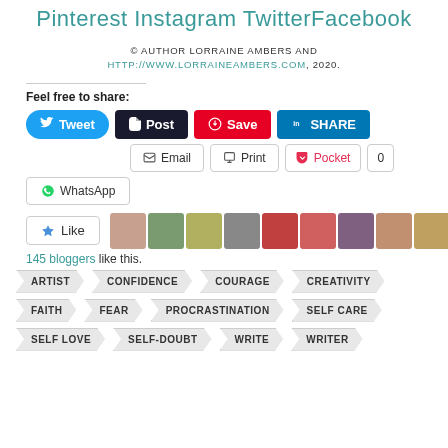Pinterest Instagram TwitterFacebook
© AUTHOR LORRAINE AMBERS AND HTTP://WWW.LORRAINEAMBERS.COM, 2020.
Feel free to share:
[Figure (screenshot): Social share buttons: Tweet, Post, Save, SHARE, Email, Print, Pocket (0), WhatsApp]
[Figure (screenshot): Like button with star icon and 10 avatar thumbnails of bloggers]
145 bloggers like this.
ARTIST  CONFIDENCE  COURAGE  CREATIVITY  FAITH  FEAR  PROCRASTINATION  SELF CARE  SELF LOVE  SELF-DOUBT  WRITE  WRITER